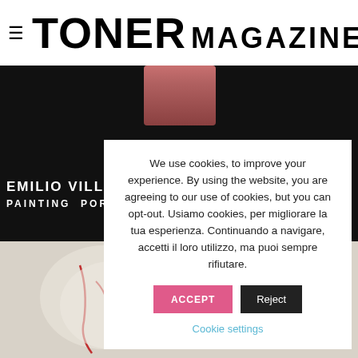TONER MAGAZINE
[Figure (photo): Dark portrait photo of a person behind bars or a surface, face partially visible at top. Below: a dark background image with text overlay reading EMILIO VILL... PAINTING PORT...]
EMILIO VILL...
PAINTING PORT...
[Figure (photo): Watercolor or sketch style painting of a figure in white with red accents, partial view]
We use cookies, to improve your experience. By using the website, you are agreeing to our use of cookies, but you can opt-out. Usiamo cookies, per migliorare la tua esperienza. Continuando a navigare, accetti il loro utilizzo, ma puoi sempre rifiutare.
ACCEPT
Reject
Cookie settings